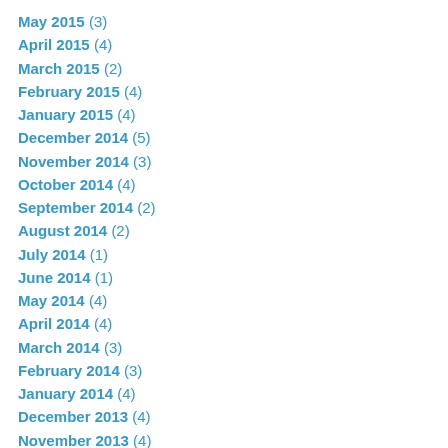May 2015 (3)
April 2015 (4)
March 2015 (2)
February 2015 (4)
January 2015 (4)
December 2014 (5)
November 2014 (3)
October 2014 (4)
September 2014 (2)
August 2014 (2)
July 2014 (1)
June 2014 (1)
May 2014 (4)
April 2014 (4)
March 2014 (3)
February 2014 (3)
January 2014 (4)
December 2013 (4)
November 2013 (4)
October 2013 (3)